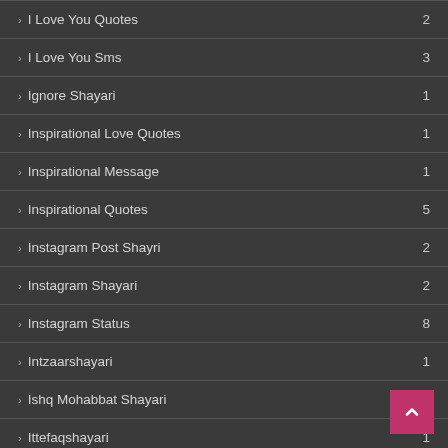› I Love You Quotes  2
› I Love You Sms  3
› Ignore Shayari  1
› Inspirational Love Quotes  1
› Inspirational Message  1
› Inspirational Quotes  5
› Instagram Post Shayri  2
› Instagram Shayari  2
› Instagram Status  8
› Intzaarshayari  1
› Ishq Mohabbat Shayari  6
› Ittefaqshayari  1
› Izzat Shayari  1